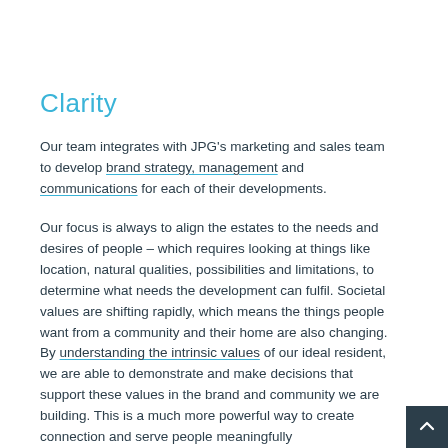Clarity
Our team integrates with JPG's marketing and sales team to develop brand strategy, management and communications for each of their developments.
Our focus is always to align the estates to the needs and desires of people – which requires looking at things like location, natural qualities, possibilities and limitations, to determine what needs the development can fulfil. Societal values are shifting rapidly, which means the things people want from a community and their home are also changing. By understanding the intrinsic values of our ideal resident, we are able to demonstrate and make decisions that support these values in the brand and community we are building. This is a much more powerful way to create connection and serve people meaningfully